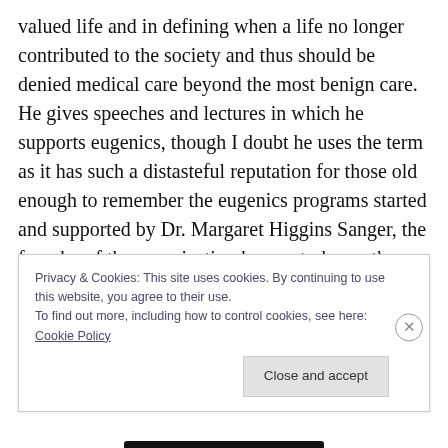valued life and in defining when a life no longer contributed to the society and thus should be denied medical care beyond the most benign care. He gives speeches and lectures in which he supports eugenics, though I doubt he uses the term as it has such a distasteful reputation for those old enough to remember the eugenics programs started and supported by Dr. Margaret Higgins Sanger, the founder of the organization known today as the Planned Parenthood Federation of America and supporter of eugenics programs that were particular to birth control and the aborting of those in
Privacy & Cookies: This site uses cookies. By continuing to use this website, you agree to their use.
To find out more, including how to control cookies, see here: Cookie Policy
Close and accept